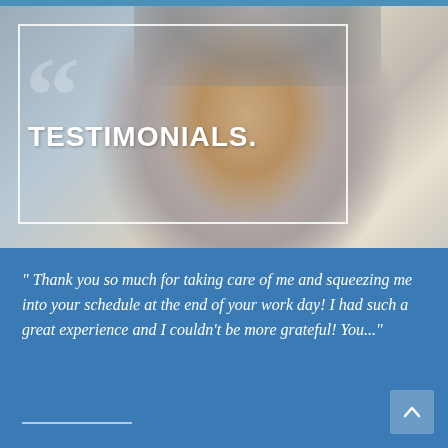[Figure (photo): Smiling older man with grey hair and beard, wearing a light blue shirt, gesturing with hands clasped. Background is blurred indoor setting. White border overlay on left portion. Large decorative quotation mark in background. Text overlay reads TESTIMONIALS.]
" Thank you so much for taking care of me and squeezing me into your schedule at the end of your work day! I had such a great experience and I couldn't be more grateful! You..."